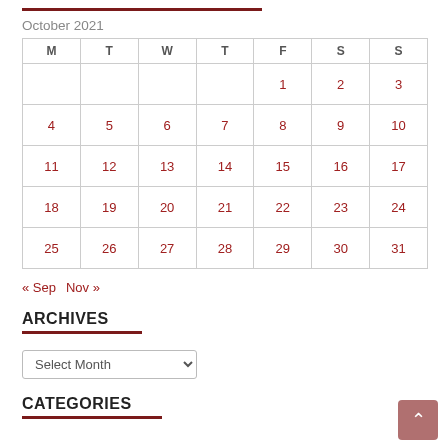October 2021
| M | T | W | T | F | S | S |
| --- | --- | --- | --- | --- | --- | --- |
|  |  |  |  | 1 | 2 | 3 |
| 4 | 5 | 6 | 7 | 8 | 9 | 10 |
| 11 | 12 | 13 | 14 | 15 | 16 | 17 |
| 18 | 19 | 20 | 21 | 22 | 23 | 24 |
| 25 | 26 | 27 | 28 | 29 | 30 | 31 |
« Sep   Nov »
ARCHIVES
Select Month
CATEGORIES